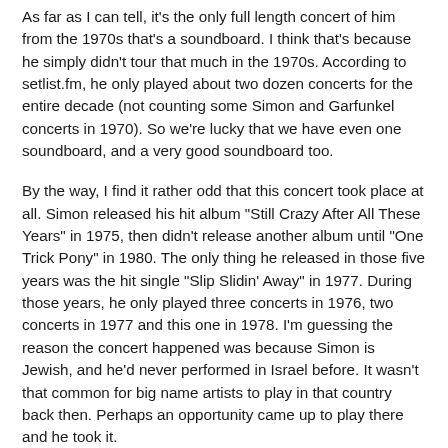As far as I can tell, it's the only full length concert of him from the 1970s that's a soundboard. I think that's because he simply didn't tour that much in the 1970s. According to setlist.fm, he only played about two dozen concerts for the entire decade (not counting some Simon and Garfunkel concerts in 1970). So we're lucky that we have even one soundboard, and a very good soundboard too.
By the way, I find it rather odd that this concert took place at all. Simon released his hit album "Still Crazy After All These Years" in 1975, then didn't release another album until "One Trick Pony" in 1980. The only thing he released in those five years was the hit single "Slip Slidin' Away" in 1977. During those years, he only played three concerts in 1976, two concerts in 1977 and this one in 1978. I'm guessing the reason the concert happened was because Simon is Jewish, and he'd never performed in Israel before. It wasn't that common for big name artists to play in that country back then. Perhaps an opportunity came up to play there and he took it.
But it might as well has been a 1975 concert, since he played basically the same songs as he did then (plus "Slip